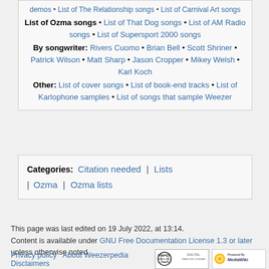demos • List of The Relationship songs • List of Carnival Art songs
List of Ozma songs • List of That Dog songs • List of AM Radio songs • List of Supersport 2000 songs
By songwriter: Rivers Cuomo • Brian Bell • Scott Shriner • Patrick Wilson • Matt Sharp • Jason Cropper • Mikey Welsh • Karl Koch
Other: List of cover songs • List of book-end tracks • List of Karlophone samples • List of songs that sample Weezer
Categories: Citation needed | Lists | Ozma | Ozma lists
This page was last edited on 19 July 2022, at 13:14.
Content is available under GNU Free Documentation License 1.3 or later unless otherwise noted.
Privacy policy    About Weezerpedia    Disclaimers